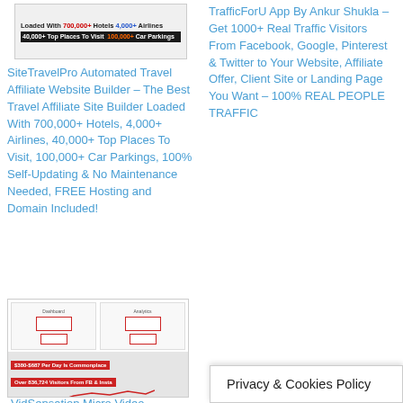[Figure (screenshot): Product banner image for SiteTravelPro showing text: Loaded With 700,000+ Hotels, 4,000+ Airlines, 40,000+ Top Places To Visit, 100,000+ Car Parkings]
SiteTravelPro Automated Travel Affiliate Website Builder – The Best Travel Affiliate Site Builder Loaded With 700,000+ Hotels, 4,000+ Airlines, 40,000+ Top Places To Visit, 100,000+ Car Parkings, 100% Self-Updating & No Maintenance Needed, FREE Hosting and Domain Included!
TrafficForU App By Ankur Shukla – Get 1000+ Real Traffic Visitors From Facebook, Google, Pinterest & Twitter to Your Website, Affiliate Offer, Client Site or Landing Page You Want – 100% REAL PEOPLE TRAFFIC
[Figure (screenshot): Product thumbnail image for VidSensation Micro showing dashboard screenshots with red highlighted boxes and banners saying $380-$687 Per Day Is Commonplace and Over 836,724 Visitors From FB & Insta]
VidSensation Micro Video Software To
Privacy & Cookies Policy